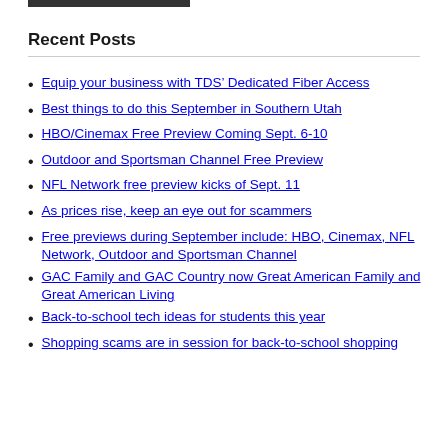Recent Posts
Equip your business with TDS’ Dedicated Fiber Access
Best things to do this September in Southern Utah
HBO/Cinemax Free Preview Coming Sept. 6-10
Outdoor and Sportsman Channel Free Preview
NFL Network free preview kicks of Sept. 11
As prices rise, keep an eye out for scammers
Free previews during September include: HBO, Cinemax, NFL Network, Outdoor and Sportsman Channel
GAC Family and GAC Country now Great American Family and Great American Living
Back-to-school tech ideas for students this year
Shopping scams are in session for back-to-school shopping